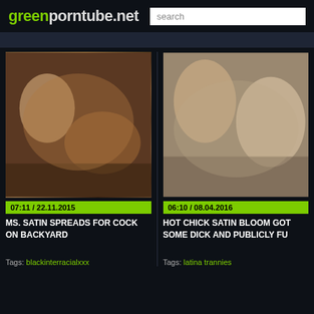greenporntube.net
[Figure (screenshot): Video thumbnail left: outdoor adult content scene]
07:11 / 22.11.2015
MS. SATIN SPREADS FOR COCK ON BACKYARD
Tags: blackinterracialxxx
[Figure (screenshot): Video thumbnail right: adult content scene with two people]
06:10 / 08.04.2016
HOT CHICK SATIN BLOOM GOT SOME DICK AND PUBLICLY FU
Tags: latina trannies